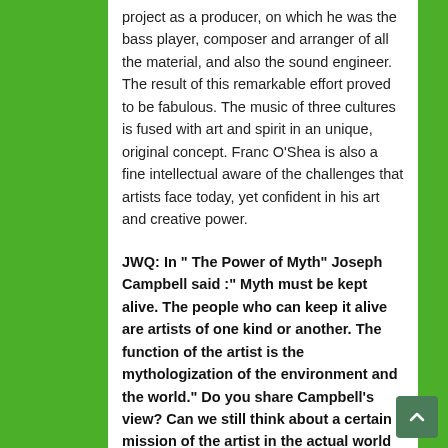project as a producer, on which he was the bass player, composer and arranger of all the material, and also the sound engineer. The result of this remarkable effort proved to be fabulous. The music of three cultures is fused with art and spirit in an unique, original concept. Franc O'Shea is also a fine intellectual aware of the challenges that artists face today, yet confident in his art and creative power.
JWQ: In " The Power of Myth" Joseph Campbell said :" Myth must be kept alive. The people who can keep it alive are artists of one kind or another. The function of the artist is the mythologization of the environment and the world." Do you share Campbell's view? Can we still think about a certain mission of the artist in the actual world of show business?
Franc O'Shea: I do think that myth is important in the sense of it being a gateway to the spiritual. To me it